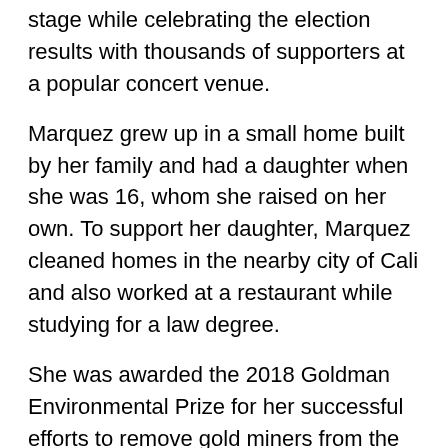stage while celebrating the election results with thousands of supporters at a popular concert venue.
Marquez grew up in a small home built by her family and had a daughter when she was 16, whom she raised on her own. To support her daughter, Marquez cleaned homes in the nearby city of Cali and also worked at a restaurant while studying for a law degree.
She was awarded the 2018 Goldman Environmental Prize for her successful efforts to remove gold miners from the collectively owned Afro-Colombian lands around her village.
Marquez entered the presidential race last year as a candidate for the Democratic Pole party, though she lost out in an inter-party consultation in March to Gustavo Petro. But she gained national recognition during the primaries and received 700,000 votes, topping most veteran politicians.